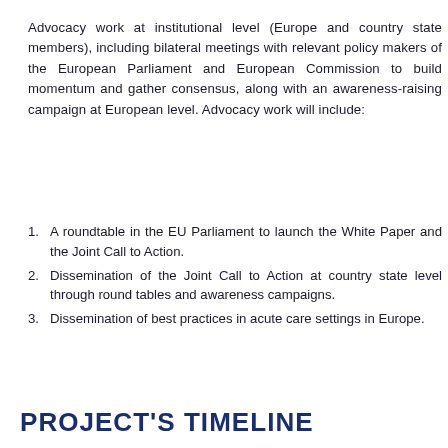Advocacy work at institutional level (Europe and country state members), including bilateral meetings with relevant policy makers of the European Parliament and European Commission to build momentum and gather consensus, along with an awareness-raising campaign at European level. Advocacy work will include:
A roundtable in the EU Parliament to launch the White Paper and the Joint Call to Action.
Dissemination of the Joint Call to Action at country state level through round tables and awareness campaigns.
Dissemination of best practices in acute care settings in Europe.
PROJECT'S TIMELINE